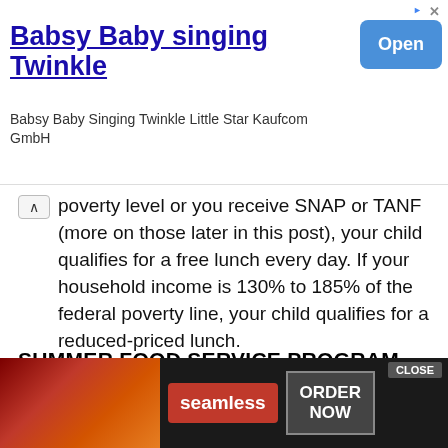[Figure (screenshot): Advertisement banner: 'Babsy Baby singing Twinkle' with blue Open button and ad attribution icons]
poverty level or you receive SNAP or TANF (more on those later in this post), your child qualifies for a free lunch every day. If your household income is 130% to 185% of the federal poverty line, your child qualifies for a reduced-priced lunch.
SUMMER FOOD SERVICE PROGRAM
This program is run during the summer when school is out and children no longer have access to free lunches. ANY child 18 and under can receive a free meal. No registration is required. Food distribution sites are typically at your local school d[...] r you.
[Figure (screenshot): Seamless food delivery advertisement with pizza image, ORDER NOW button, and CLOSE button overlay]